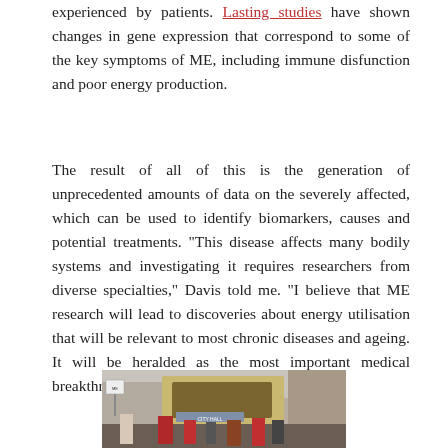experienced by patients. Lasting studies have shown changes in gene expression that correspond to some of the key symptoms of ME, including immune disfunction and poor energy production.
The result of all of this is the generation of unprecedented amounts of data on the severely affected, which can be used to identify biomarkers, causes and potential treatments. "This disease affects many bodily systems and investigating it requires researchers from diverse specialties," Davis told me. "I believe that ME research will lead to discoveries about energy utilisation that will be relevant to most chronic diseases and ageing. It will be heralded as the most important medical breakthrough of the twenty-first century."
[Figure (photo): Photograph of people outside a City Hall building, with protesters holding signs; ornate golden architectural details visible above the entrance]